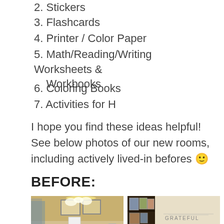2. Stickers
3. Flashcards
4. Printer / Color Paper
5. Math/Reading/Writing Worksheets & Workbooks
6. Coloring Books
7. Activities for H
I hope you find these ideas helpful! See below photos of our new rooms, including actively lived-in befores 🙂
BEFORE:
[Figure (photo): A room interior showing a desk with items, frames on the wall, a window with curtain, lit ceiling light fixture]
[Figure (photo): A room interior showing a dark bookshelf with frames, a wall with 'GRATEFUL' text decal, and a sofa]